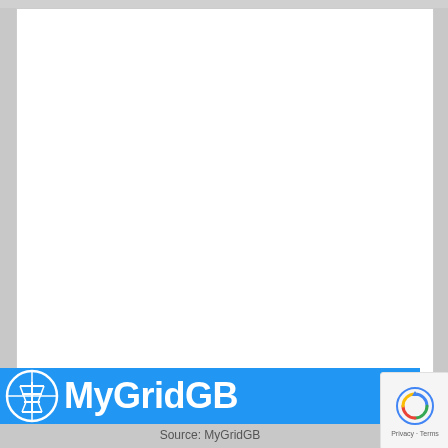[Figure (screenshot): White blank content area - a web page screenshot showing a mostly empty white content region]
[Figure (logo): MyGridGB logo: blue banner with white circular power transmission tower icon on left and white bold text 'MyGridGB' on right]
[Figure (other): Google reCAPTCHA widget overlay in bottom right corner showing reCAPTCHA logo and 'Privacy - Terms' text]
Source: MyGridGB